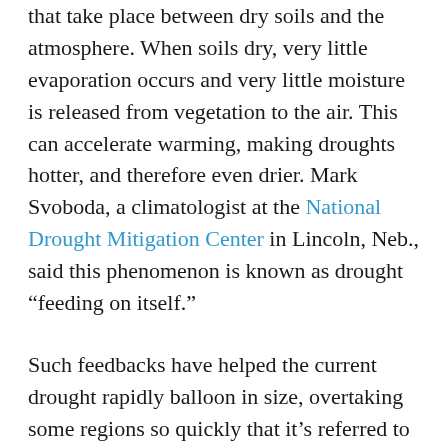that take place between dry soils and the atmosphere. When soils dry, very little evaporation occurs and very little moisture is released from vegetation to the air. This can accelerate warming, making droughts hotter, and therefore even drier. Mark Svoboda, a climatologist at the National Drought Mitigation Center in Lincoln, Neb., said this phenomenon is known as drought “feeding on itself.”
Such feedbacks have helped the current drought rapidly balloon in size, overtaking some regions so quickly that it’s referred to as a “flash drought.” At the start of the year, just 28 percent of the contiguous U.S. — mainly the southern tier — was in at least moderate drought. Between mid-April and mid-July, the